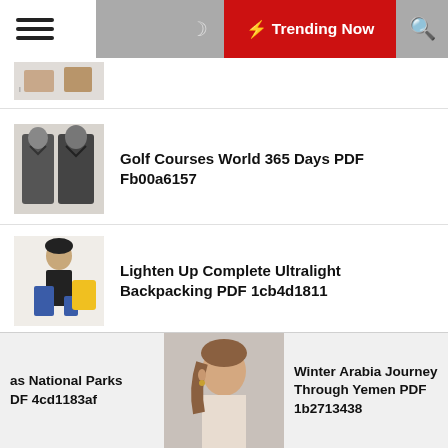Trending Now
Golf Courses World 365 Days PDF Fb00a6157
Lighten Up Complete Ultralight Backpacking PDF 1cb4d1811
Rat Queens 1 Sass Sorcery PDF A84cee013
Love Chance Drowning Torre DeRoche PDF
as National Parks DF 4cd1183af
Winter Arabia Journey Through Yemen PDF 1b2713438